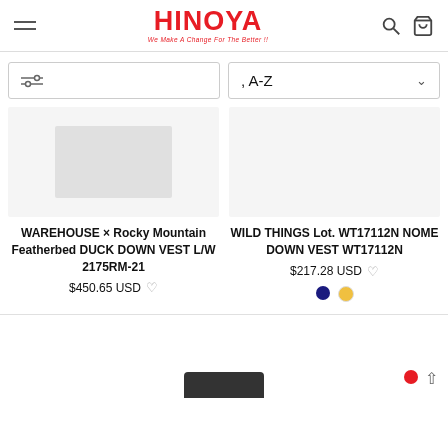HINOYA — We Make A Change For The Better!!
Filter | Sort, A-Z
[Figure (photo): Product thumbnail placeholder for WAREHOUSE x Rocky Mountain Featherbed Duck Down Vest]
WAREHOUSE × Rocky Mountain Featherbed DUCK DOWN VEST L/W 2175RM-21
$450.65 USD
[Figure (photo): Product thumbnail placeholder for WILD THINGS Nome Down Vest]
WILD THINGS Lot. WT17112N NOME DOWN VEST WT17112N
$217.28 USD
[Figure (infographic): Color swatches: navy blue and yellow/gold for WILD THINGS vest]
[Figure (screenshot): Bottom bar with Japanese characters and red dot, partial product below]